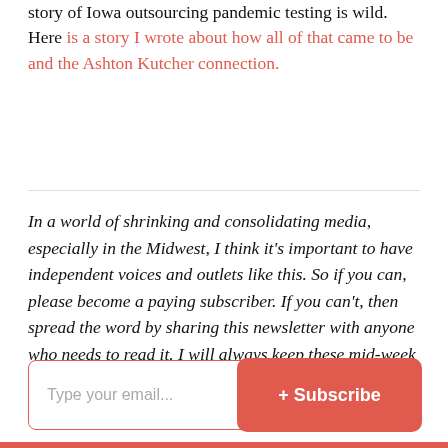story of Iowa outsourcing pandemic testing is wild. Here is a story I wrote about how all of that came to be and the Ashton Kutcher connection.
In a world of shrinking and consolidating media, especially in the Midwest, I think it's important to have independent voices and outlets like this. So if you can, please become a paying subscriber. If you can't, then spread the word by sharing this newsletter with anyone who needs to read it. I will always keep these mid-week newsletters free!